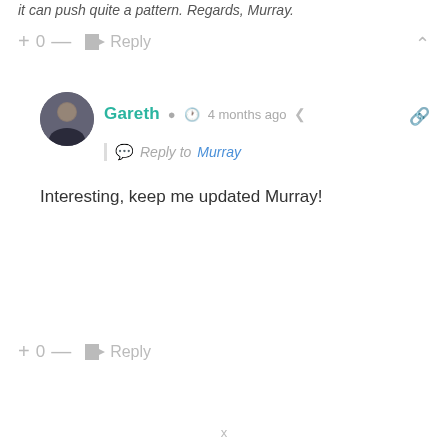it can push quite a pattern. Regards, Murray.
+ 0 — Reply
Gareth  4 months ago
Reply to Murray
Interesting, keep me updated Murray!
+ 0 — Reply